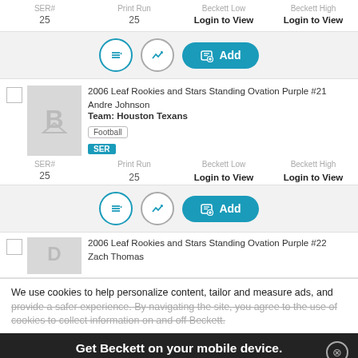SER# 25  Print Run 25  Beckett Low Login to View  Beckett High Login to View
[Figure (screenshot): Action bar with list icon, chart icon, and teal Add button]
2006 Leaf Rookies and Stars Standing Ovation Purple #21 Andre Johnson  Team: Houston Texans  Football  SER
SER# 25  Print Run 25  Beckett Low Login to View  Beckett High Login to View
[Figure (screenshot): Action bar with list icon, chart icon, and teal Add button]
2006 Leaf Rookies and Stars Standing Ovation Purple #22 Zach Thomas
We use cookies to help personalize content, tailor and measure ads, and provide a safer experience. By navigating the site, you agree to the use of cookies to collect information on and off Beckett.
Get Beckett on your mobile device.
Install App